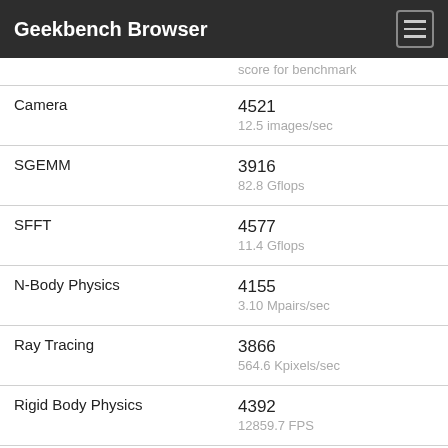Geekbench Browser
| Test | Score |
| --- | --- |
| Camera | 4521
12.5 images/sec |
| SGEMM | 3916
82.8 Gflops |
| SFFT | 4577
11.4 Gflops |
| N-Body Physics | 4155
3.10 Mpairs/sec |
| Ray Tracing | 3866
564.6 Kpixels/sec |
| Rigid Body Physics | 4392
12859.7 FPS |
| HDR | 5682
20.6 Mpixels/sec |
| Gaussian Blur | 4163
72.9 Mpixels/sec |